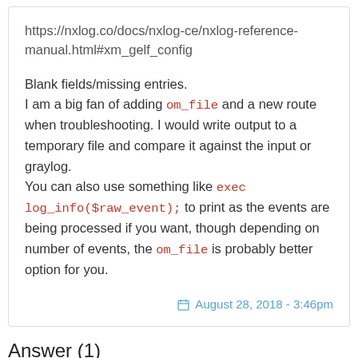https://nxlog.co/docs/nxlog-ce/nxlog-reference-manual.html#xm_gelf_config
Blank fields/missing entries.
I am a big fan of adding om_file and a new route when troubleshooting. I would write output to a temporary file and compare it against the input or graylog.
You can also use something like exec log_info($raw_event); to print as the events are being processed if you want, though depending on number of events, the om_file is probably better option for you.
August 28, 2018 - 3:46pm
Answer (1)